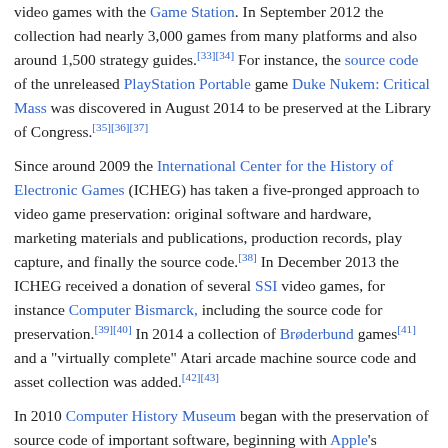video games with the Game Station. In September 2012 the collection had nearly 3,000 games from many platforms and also around 1,500 strategy guides.[33][34] For instance, the source code of the unreleased PlayStation Portable game Duke Nukem: Critical Mass was discovered in August 2014 to be preserved at the Library of Congress.[35][36][37]
Since around 2009 the International Center for the History of Electronic Games (ICHEG) has taken a five-pronged approach to video game preservation: original software and hardware, marketing materials and publications, production records, play capture, and finally the source code.[38] In December 2013 the ICHEG received a donation of several SSI video games, for instance Computer Bismarck, including the source code for preservation.[39][40] In 2014 a collection of Brøderbund games[41] and a "virtually complete" Atari arcade machine source code and asset collection was added.[42][43]
In 2010 Computer History Museum began with the preservation of source code of important software, beginning with Apple's MacPaint 1.3.[44][45][46] In 2012 the APL programming language followed.[47] Adobe Systems, Inc. donated the Photoshop 1.0.1 source code to